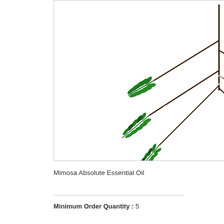[Figure (photo): Green mimosa plant branch with feathery leaves on white background, with AOS PRODUCTS watermark overlay]
[Figure (photo): Dried brownish plant/herb cluster on white background, partially visible on right side]
Mimosa Absolute Essential Oil
Minimum
Minimum Order Quantity : 5
Pr